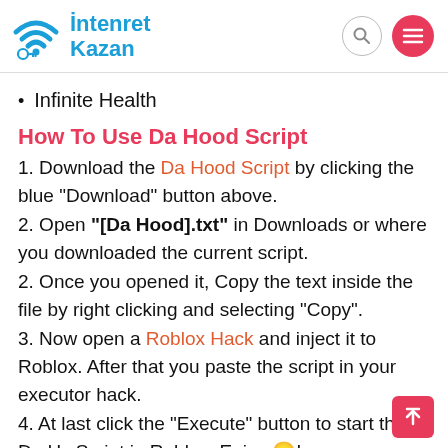İntenret Kazan
Infinite Health
How To Use Da Hood Script
1. Download the Da Hood Script by clicking the blue "Download" button above.
2. Open "[Da Hood].txt" in Downloads or where you downloaded the current script.
2. Once you opened it, Copy the text inside the file by right clicking and selecting "Copy".
3. Now open a Roblox Hack and inject it to Roblox. After that you paste the script in your executor hack.
4. At last click the "Execute" button to start the Da Hood Script in Roblox. Enjoy 😊!